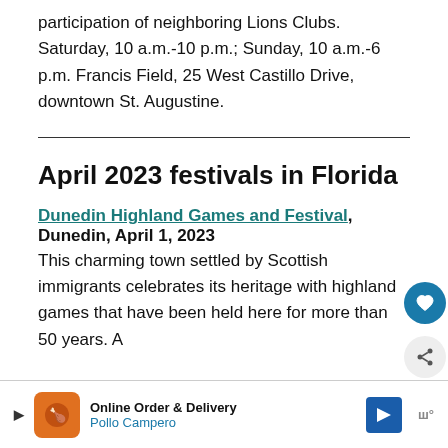participation of neighboring Lions Clubs. Saturday, 10 a.m.-10 p.m.; Sunday, 10 a.m.-6 p.m. Francis Field, 25 West Castillo Drive, downtown St. Augustine.
April 2023 festivals in Florida
Dunedin Highland Games and Festival, Dunedin, April 1, 2023 This charming town settled by Scottish immigrants celebrates its heritage with highland games that have been held here for more than 50 years. A pa...Sa...
[Figure (other): Advertisement banner for Pollo Campero Online Order & Delivery with orange logo, blue navigation arrow icon, and Waze logo]